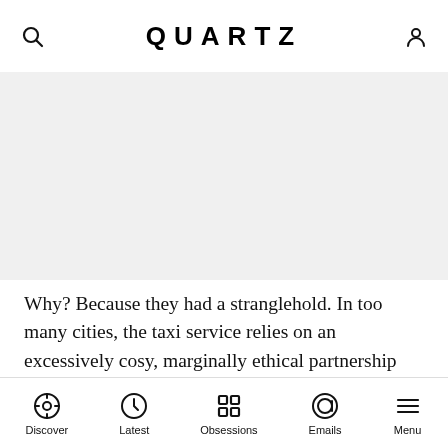QUARTZ
[Figure (other): Gray advertisement or image placeholder area]
Why? Because they had a stranglehold. In too many cities, the taxi service relies on an excessively cosy, marginally ethical partnership with the local government. Municipal taxi licenses, called medallions here and plaques in Paris, limit the number of cabs and thus drives up prices of both medallions and fares. In
Discover | Latest | Obsessions | Emails | Menu